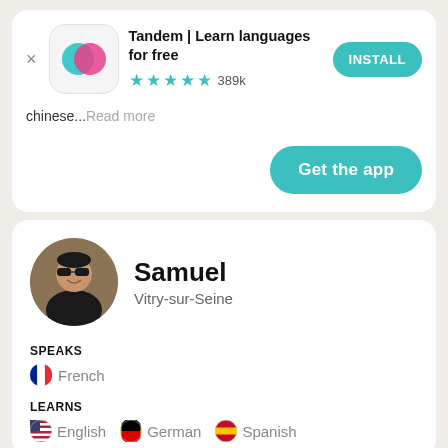[Figure (screenshot): Tandem app install banner with logo, star rating 4.5 stars 389k reviews, and INSTALL button]
chinese...Read more
[Figure (other): Get the app button (teal rounded rectangle)]
[Figure (photo): Profile photo of Samuel, a man wearing sunglasses]
Samuel
Vitry-sur-Seine
SPEAKS
🇫🇷 French
LEARNS
🇺🇸 English  🇩🇪 German  🇪🇸 Spanish